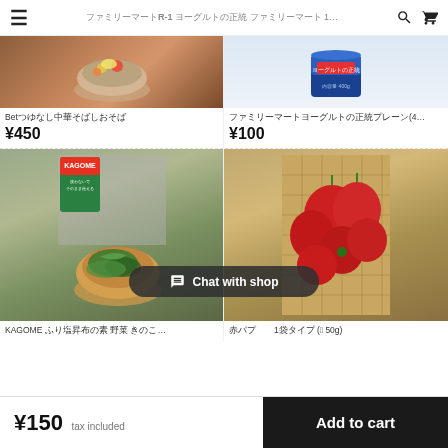≡  ファミリーマートR-1 ヨーグルトの正統 ファミリーマート 1...  🔍  🛒
[Figure (photo): Top-left product image: bowl with colorful vegetables/salad]
[Figure (photo): Top-right product image: blue container of yogurt (400g) with label ヨーグルトの正統]
Betつゆなし中華そばしおそば
¥450
ファミリーマートヨーグルトの正統プレーン(4...
¥100
[Figure (photo): Bottom-left product image: KAGOME mixed greens salad in wooden bowl with KAGOME package]
[Figure (photo): Bottom-right product image: red bell peppers on wicker/bamboo mat]
Chat with shop
KAGOME ふり塩昆布の素 野菜 きのこ...
赤パプ　1袋タイプ (約250g)
¥150 tax included
Add to cart